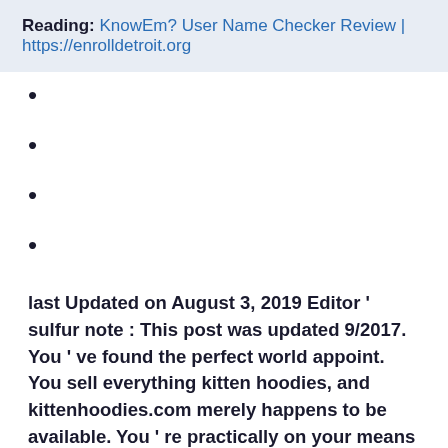Reading: KnowEm? User Name Checker Review | https://enrolldetroit.org
last Updated on August 3, 2019 Editor ' sulfur note : This post was updated 9/2017. You ' ve found the perfect world appoint. You sell everything kitten hoodies, and kittenhoodies.com merely happens to be available. You ' re practically on your means to printing money ! But wait ! There ' mho already